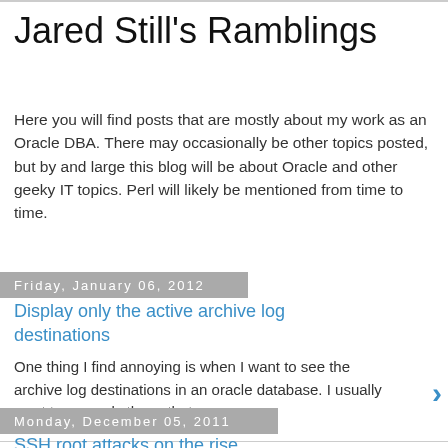Jared Still's Ramblings
Here you will find posts that are mostly about my work as an Oracle DBA. There may occasionally be other topics posted, but by and large this blog will be about Oracle and other geeky IT topics. Perl will likely be mentioned from time to time.
Friday, January 06, 2012
Display only the active archive log destinations
One thing I find annoying is when I want to see the archive log destinations in an oracle database. I usually want to see only those that a...
4 comments:
Monday, December 05, 2011
SSH root attacks on the rise